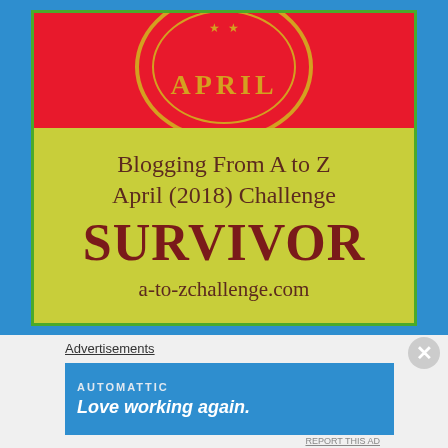[Figure (illustration): Blogging From A to Z April (2018) Challenge SURVIVOR badge. Blue background with a central rectangular badge. Top half is red with a circular gold-bordered emblem containing 'APRIL' in gold lettering with stars. Bottom half is yellow-green with dark brown text reading 'Blogging From A to Z April (2018) Challenge SURVIVOR a-to-zchallenge.com'.]
Advertisements
[Figure (screenshot): Advertisement banner with blue background. Shows 'AUTOMATTIC' brand name and 'Love working again.' tagline in italic white text.]